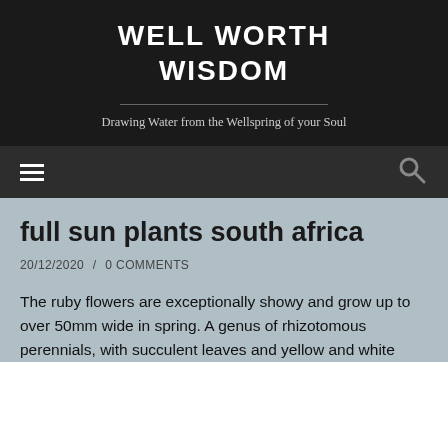WELL WORTH WISDOM
Drawing Water from the Wellspring of your Soul
full sun plants south africa
20/12/2020 / 0 COMMENTS
The ruby flowers are exceptionally showy and grow up to over 50mm wide in spring. A genus of rhizotomous perennials, with succulent leaves and yellow and white